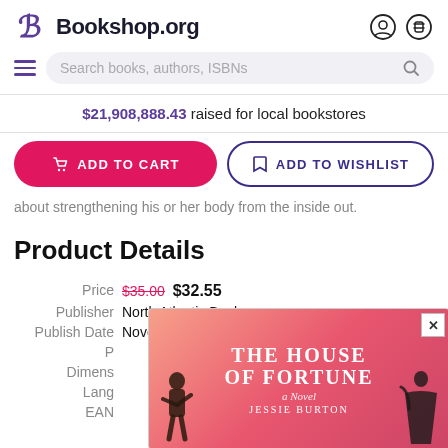Bookshop.org
$21,908,888.43 raised for local bookstores
ADD TO CART | ADD TO WISHLIST
about strengthening his or her body from the inside out.
Product Details
| Field | Value |
| --- | --- |
| Price | $35.00 $32.55 |
| Publisher | North Atlantic Books |
| Publish Date | November 05, 2002 |
[Figure (other): Book cover popup for 'The House of Fortune: A Novel' by Jessie Burton, with a pink/coral gradient background and silhouetted figures on either side. A close button (x) is shown in the top-right corner.]